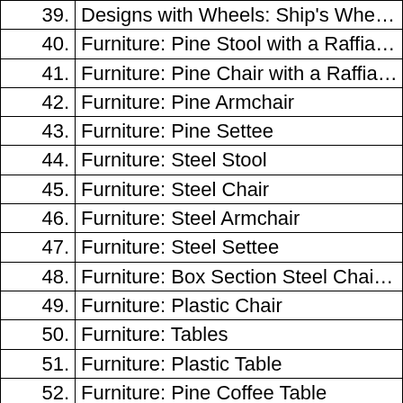| No. | Description |
| --- | --- |
| 39. | Designs with Wheels: Ship's Whe… |
| 40. | Furniture: Pine Stool with a Raffia… |
| 41. | Furniture: Pine Chair with a Raffia… |
| 42. | Furniture: Pine Armchair |
| 43. | Furniture: Pine Settee |
| 44. | Furniture: Steel Stool |
| 45. | Furniture: Steel Chair |
| 46. | Furniture: Steel Armchair |
| 47. | Furniture: Steel Settee |
| 48. | Furniture: Box Section Steel Chai… |
| 49. | Furniture: Plastic Chair |
| 50. | Furniture: Tables |
| 51. | Furniture: Plastic Table |
| 52. | Furniture: Pine Coffee Table |
| 53. | Furniture: Pine Table |
| 54. | Furniture: Wooden Table |
| 55. | Furniture: Steel Framed Table |
| 56. | Furniture: Steel Framed Table (2) |
| 57. | Furniture: Computer Table |
| 58. | Furniture: Pine Bed |